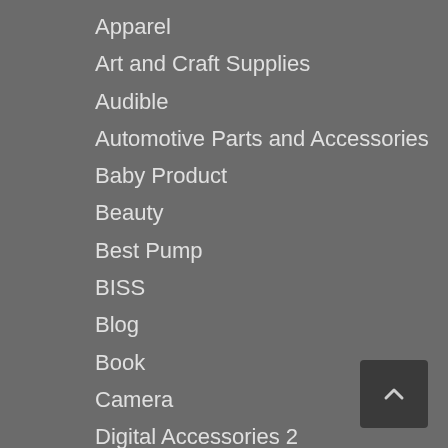Apparel
Art and Craft Supplies
Audible
Automotive Parts and Accessories
Baby Product
Beauty
Best Pump
BISS
Blog
Book
Camera
Digital Accessories 2
Digital Devices 4
Digital Devices 8 Accessories
Digital Ebook Purchas